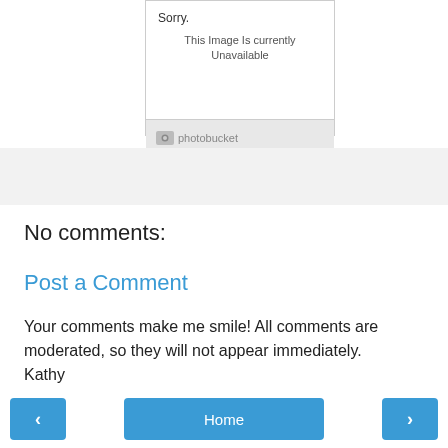[Figure (screenshot): Photobucket placeholder image showing 'Sorry. This image is currently Unavailable' with the Photobucket logo at the bottom in a gray footer bar.]
No comments:
Post a Comment
Your comments make me smile! All comments are moderated, so they will not appear immediately. Kathy